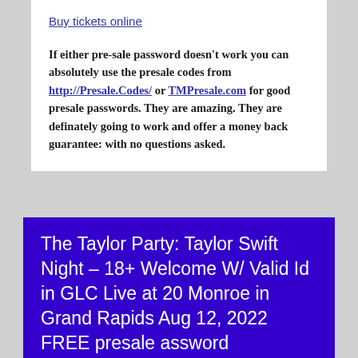Buy tickets online
If either pre-sale password doesn't work you can absolutely use the presale codes from http://Presale.Codes/ or TMPresale.com for good presale passwords. They are amazing. They are definately going to work and offer a money back guarantee: with no questions asked.
The Taylor Party: Taylor Swift Night – 18+ Welcome W/ Valid Id in GLC Live at 20 Monroe in Grand Rapids Aug 12, 2022 FREE presale assword